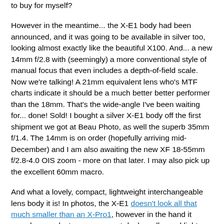to buy for myself?
However in the meantime... the X-E1 body had been announced, and it was going to be available in silver too, looking almost exactly like the beautiful X100. And... a new 14mm f/2.8 with (seemingly) a more conventional style of manual focus that even includes a depth-of-field scale. Now we're talking! A 21mm equivalent lens who's MTF charts indicate it should be a much better better performer than the 18mm. That's the wide-angle I've been waiting for... done! Sold! I bought a silver X-E1 body off the first shipment we got at Beau Photo, as well the superb 35mm f/1.4. The 14mm is on order (hopefully arriving mid-December) and I am also awaiting the new XF 18-55mm f/2.8-4.0 OIS zoom - more on that later. I may also pick up the excellent 60mm macro.
And what a lovely, compact, lightweight interchangeable lens body it is! In photos, the X-E1 doesn't look all that much smaller than an X-Pro1, however in the hand it somehow works to seem a great deal smaller and lighter than the X-Pro1, mostly in a good way too. The X-E1 is everything I had